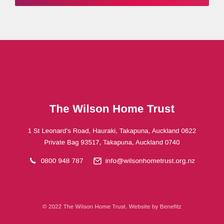[Figure (other): Top banner bar with dark pink/crimson gradient, partial view of a card or content block on light grey background]
The Wilson Home Trust
1 St Leonard’s Road, Hauraki, Takapuna, Auckland 0622
Private Bag 93517, Takapuna, Auckland 0740
0800 948 787   info@wilsonhometrust.org.nz
© 2022 The Wilson Home Trust. Website by Benefitz